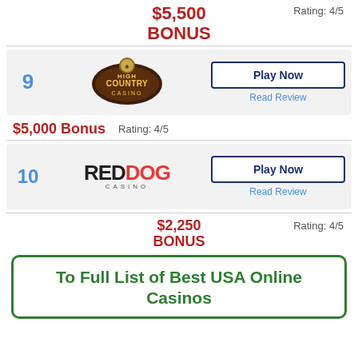$5,500 BONUS    Rating: 4/5
[Figure (logo): High Country Casino logo with rank 9 and Play Now / Read Review buttons]
$5,000 Bonus    Rating: 4/5
[Figure (logo): Red Dog Casino logo with rank 10 and Play Now / Read Review buttons]
$2,250 BONUS    Rating: 4/5
To Full List of Best USA Online Casinos